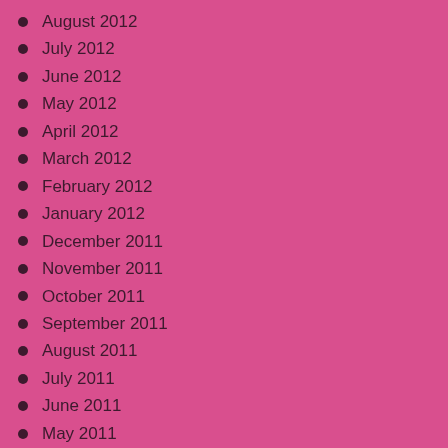August 2012
July 2012
June 2012
May 2012
April 2012
March 2012
February 2012
January 2012
December 2011
November 2011
October 2011
September 2011
August 2011
July 2011
June 2011
May 2011
April 2011
March 2011
February 2011
January 2011
December 2010
November 2010